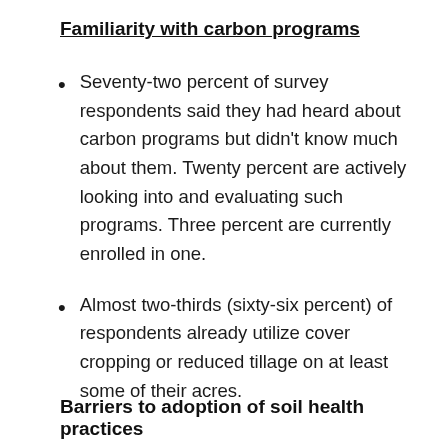Familiarity with carbon programs
Seventy-two percent of survey respondents said they had heard about carbon programs but didn't know much about them. Twenty percent are actively looking into and evaluating such programs. Three percent are currently enrolled in one.
Almost two-thirds (sixty-six percent) of respondents already utilize cover cropping or reduced tillage on at least some of their acres.
Barriers to adoption of soil health practices